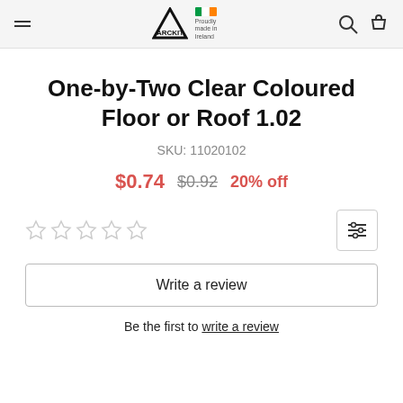ARCKIT — Proudly made in Ireland
One-by-Two Clear Coloured Floor or Roof 1.02
SKU: 11020102
$0.74  $0.92  20% off
☆☆☆☆☆
Write a review
Be the first to write a review